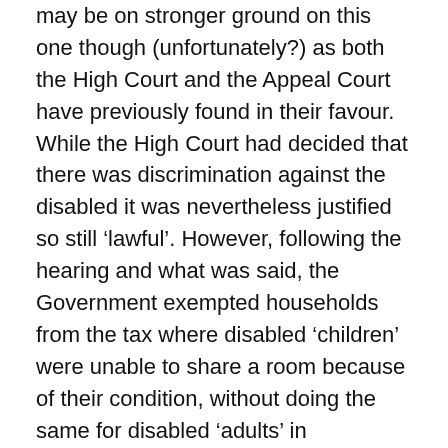may be on stronger ground on this one though (unfortunately?) as both the High Court and the Appeal Court have previously found in their favour. While the High Court had decided that there was discrimination against the disabled it was nevertheless justified so still ‘lawful’. However, following the hearing and what was said, the Government exempted households from the tax where disabled ‘children’ were unable to share a room because of their condition, without doing the same for disabled ‘adults’ in equivalent situations – how comes?
This unpopular controversial bedroom tax is all part of the Department of Pension head, rich Tory Ian Duncan Smith’s drive to attack the most vulnerable in UK society by slashing welfare costs (in this case some half a billion pounds a year from those on housing benefit). The claimed objective of the Government is to force people to